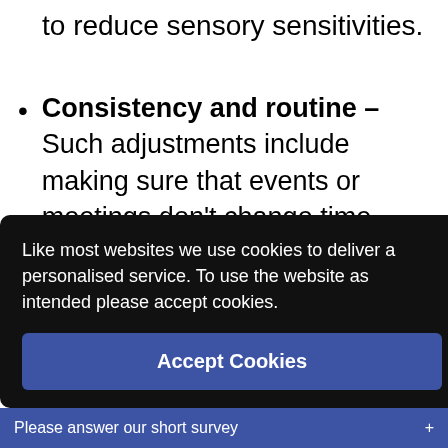to reduce sensory sensitivities.
Consistency and routine – Such adjustments include making sure that events or meetings don't change time unexpectedly, allowing an autistic employee to consistently work in the same way in the same place, and
Like most websites we use cookies to deliver a personalised service. To use the website as intended please accept cookies.
Accept Cookies
Please answer our short survey